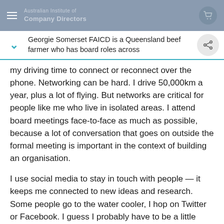Australian Institute of Company Directors
Georgie Somerset FAICD is a Queensland beef farmer who has board roles across
my driving time to connect or reconnect over the phone. Networking can be hard. I drive 50,000km a year, plus a lot of flying. But networks are critical for people like me who live in isolated areas. I attend board meetings face-to-face as much as possible, because a lot of conversation that goes on outside the formal meeting is important in the context of building an organisation.
I use social media to stay in touch with people — it keeps me connected to new ideas and research. Some people go to the water cooler, I hop on Twitter or Facebook. I guess I probably have to be a little more organised than those who don't travel so much, but I wouldn't swap what I have. It's the diversity of my life and the